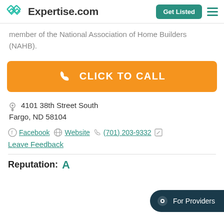Expertise.com | Get Listed
member of the National Association of Home Builders (NAHB).
[Figure (other): Orange 'CLICK TO CALL' button with phone icon]
4101 38th Street South
Fargo, ND 58104
Facebook | Website | (701) 203-9332 | Leave Feedback
Reputation: A
[Figure (other): For Providers chat button]